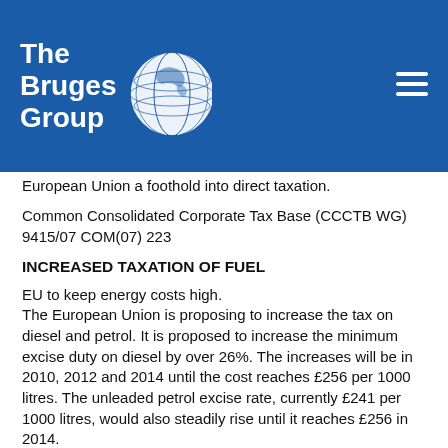[Figure (logo): The Bruges Group logo — white text on blue background with globe illustration and hamburger menu icon]
European Union a foothold into direct taxation.
Common Consolidated Corporate Tax Base (CCCTB WG) 9415/07 COM(07) 223
INCREASED TAXATION OF FUEL
EU to keep energy costs high.
The European Union is proposing to increase the tax on diesel and petrol. It is proposed to increase the minimum excise duty on diesel by over 26%. The increases will be in 2010, 2012 and 2014 until the cost reaches £256 per 1000 litres. The unleaded petrol excise rate, currently £241 per 1000 litres, would also steadily rise until it reaches £256 in 2014.
These proposed increases will limit a British governments